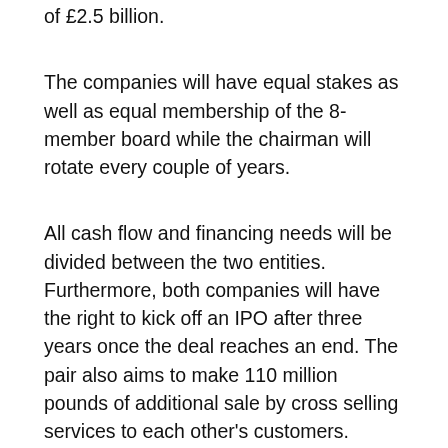of £2.5 billion.
The companies will have equal stakes as well as equal membership of the 8-member board while the chairman will rotate every couple of years.
All cash flow and financing needs will be divided between the two entities. Furthermore, both companies will have the right to kick off an IPO after three years once the deal reaches an end. The pair also aims to make 110 million pounds of additional sale by cross selling services to each other's customers.
While neither of the companies mentioned job